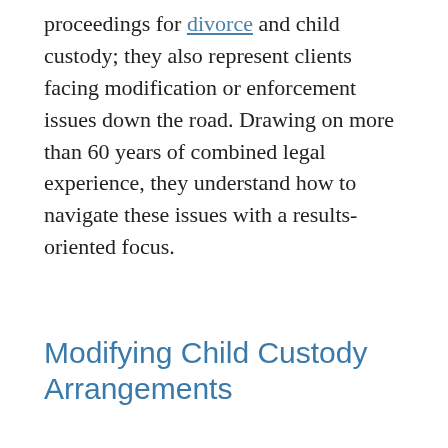proceedings for divorce and child custody; they also represent clients facing modification or enforcement issues down the road. Drawing on more than 60 years of combined legal experience, they understand how to navigate these issues with a results-oriented focus.
Modifying Child Custody Arrangements
In Missouri, child custody revolves around the children's best interests. Sometimes, though, an existing parenting plan may no longer serve the children's interests. Circumstances change, and children's needs